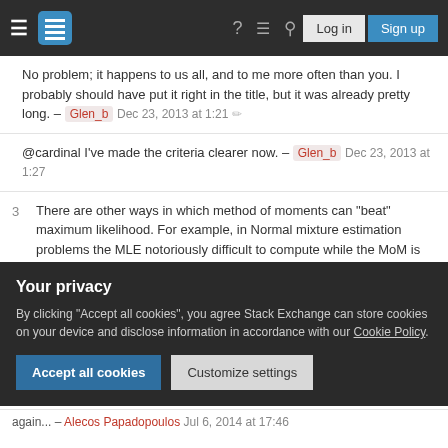Stack Exchange navigation bar with Log in and Sign up buttons
No problem; it happens to us all, and to me more often than you. I probably should have put it right in the title, but it was already pretty long. – Glen_b  Dec 23, 2013 at 1:21 ✎
@cardinal I've made the criteria clearer now. – Glen_b  Dec 23, 2013 at 1:27
3  There are other ways in which method of moments can "beat" maximum likelihood. For example, in Normal mixture estimation problems the MLE notoriously difficult to compute while the MoM is not. – vqv  Dec 27, 2013 at 0:53 ✎
again... – Alecos Papadopoulos Jul 6, 2014 at 17:46
Your privacy
By clicking "Accept all cookies", you agree Stack Exchange can store cookies on your device and disclose information in accordance with our Cookie Policy.
Accept all cookies  Customize settings